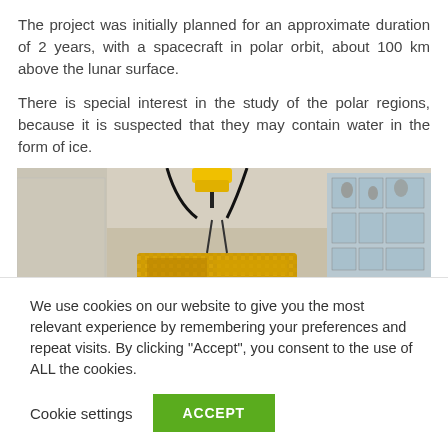The project was initially planned for an approximate duration of 2 years, with a spacecraft in polar orbit, about 100 km above the lunar surface.
There is special interest in the study of the polar regions, because it is suspected that they may contain water in the form of ice.
[Figure (photo): A spacecraft with gold thermal insulation foil being assembled or tested in a clean room facility, suspended by a crane. Windows along the wall show observers. Various equipment and containers visible around the spacecraft.]
We use cookies on our website to give you the most relevant experience by remembering your preferences and repeat visits. By clicking "Accept", you consent to the use of ALL the cookies.
Cookie settings   ACCEPT